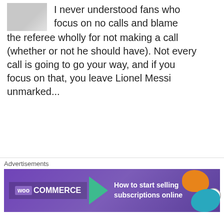I never understood fans who focus on no calls and blame the referee wholly for not making a call (whether or not he should have). Not every call is going to go your way, and if you focus on that, you leave Lionel Messi unmarked...
★ Like
sepandee   June 22, 2014  5:25 pm
[Figure (screenshot): Avatar image placeholder (gray)]
Jesus Christ, I'm also Iranian
[Figure (screenshot): WooCommerce advertisement banner: How to start selling subscriptions online]
Advertisements